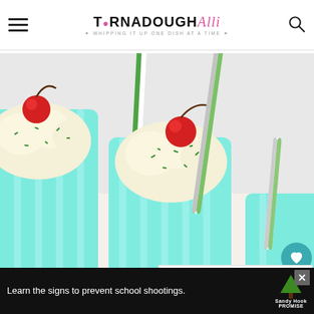TORNADOUGH Alli — Whipping it up one dish at a time
[Figure (photo): Two tall glasses of mint green milkshakes topped with swirled whipped cream, green sprinkles, red maraschino cherries, and green-and-white striped paper straws]
1
WHAT'S NEXT → Horchata Recipe
Learn the signs to prevent school shootings. Sandy Hook Promise